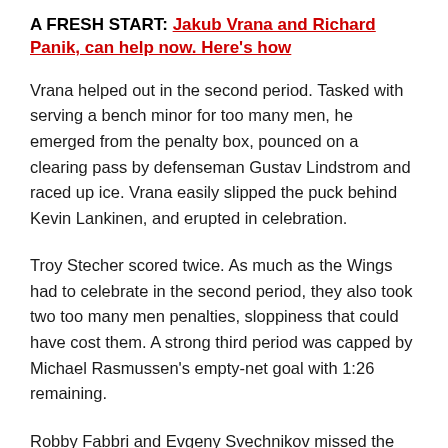A FRESH START: Jakub Vrana and Richard Panik, can help now. Here's how
Vrana helped out in the second period. Tasked with serving a bench minor for too many men, he emerged from the penalty box, pounced on a clearing pass by defenseman Gustav Lindstrom and raced up ice. Vrana easily slipped the puck behind Kevin Lankinen, and erupted in celebration.
Troy Stecher scored twice. As much as the Wings had to celebrate in the second period, they also took two too many men penalties, sloppiness that could have cost them. A strong third period was capped by Michael Rasmussen's empty-net goal with 1:26 remaining.
Robby Fabbri and Evgeny Svechnikov missed the game